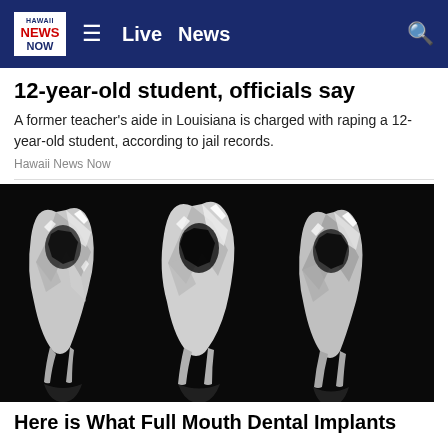Hawaii NEWS NOW — Live News
12-year-old student, officials say
A former teacher's aide in Louisiana is charged with raping a 12-year-old student, according to jail records.
Hawaii News Now
[Figure (photo): Three crystal/diamond-textured molar teeth on a dark background, reflecting light with sparkle effects]
Here is What Full Mouth Dental Implants